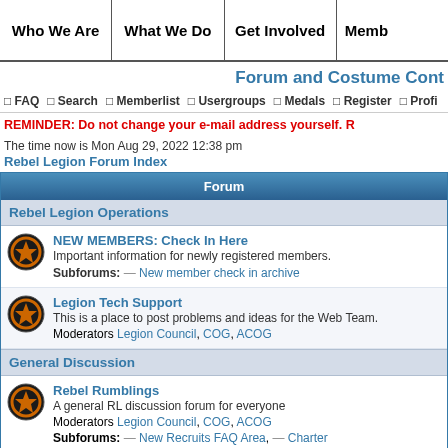Who We Are | What We Do | Get Involved | Memb
Forum and Costume Cont
FAQ  Search  Memberlist  Usergroups  Medals  Register  Profi
REMINDER: Do not change your e-mail address yourself. R
The time now is Mon Aug 29, 2022 12:38 pm
Rebel Legion Forum Index
| Forum |
| --- |
| Rebel Legion Operations |
| NEW MEMBERS: Check In Here | Important information for newly registered members. | Subforums: New member check in archive |
| Legion Tech Support | This is a place to post problems and ideas for the Web Team. | Moderators Legion Council, COG, ACOG |
| General Discussion |
| Rebel Rumblings | A general RL discussion forum for everyone | Moderators Legion Council, COG, ACOG | Subforums: New Recruits FAQ Area, Charter |